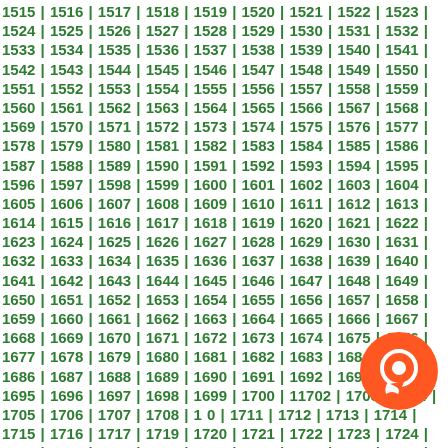1515 | 1516 | 1517 | 1518 | 1519 | 1520 | 1521 | 1522 | 1523 | 1524 | 1525 | 1526 | 1527 | 1528 | 1529 | 1530 | 1531 | 1532 | 1533 | 1534 | 1535 | 1536 | 1537 | 1538 | 1539 | 1540 | 1541 | 1542 | 1543 | 1544 | 1545 | 1546 | 1547 | 1548 | 1549 | 1550 | 1551 | 1552 | 1553 | 1554 | 1555 | 1556 | 1557 | 1558 | 1559 | 1560 | 1561 | 1562 | 1563 | 1564 | 1565 | 1566 | 1567 | 1568 | 1569 | 1570 | 1571 | 1572 | 1573 | 1574 | 1575 | 1576 | 1577 | 1578 | 1579 | 1580 | 1581 | 1582 | 1583 | 1584 | 1585 | 1586 | 1587 | 1588 | 1589 | 1590 | 1591 | 1592 | 1593 | 1594 | 1595 | 1596 | 1597 | 1598 | 1599 | 1600 | 1601 | 1602 | 1603 | 1604 | 1605 | 1606 | 1607 | 1608 | 1609 | 1610 | 1611 | 1612 | 1613 | 1614 | 1615 | 1616 | 1617 | 1618 | 1619 | 1620 | 1621 | 1622 | 1623 | 1624 | 1625 | 1626 | 1627 | 1628 | 1629 | 1630 | 1631 | 1632 | 1633 | 1634 | 1635 | 1636 | 1637 | 1638 | 1639 | 1640 | 1641 | 1642 | 1643 | 1644 | 1645 | 1646 | 1647 | 1648 | 1649 | 1650 | 1651 | 1652 | 1653 | 1654 | 1655 | 1656 | 1657 | 1658 | 1659 | 1660 | 1661 | 1662 | 1663 | 1664 | 1665 | 1666 | 1667 | 1668 | 1669 | 1670 | 1671 | 1672 | 1673 | 1674 | 1675 | 1676 | 1677 | 1678 | 1679 | 1680 | 1681 | 1682 | 1683 | 1684 | 1685 | 1686 | 1687 | 1688 | 1689 | 1690 | 1691 | 1692 | 1693 | 1694 | 1695 | 1696 | 1697 | 1698 | 1699 | 1700 | 1701 | 1702 | 1703 | 1704 | 1705 | 1706 | 1707 | 1708 | 1709 | 1710 | 1711 | 1712 | 1713 | 1714 | 1715 | 1716 | 1717 | 1718 | 1719 | 1720 | 1721 | 1722 | 1723 | 1724 | 1725 | 1726 | 1727 | 1728 | 1729 | 1730 | 1731 | 1732 | 1733 | 1734 | 1735
[Figure (illustration): Orange circular chat/messenger icon in the bottom right corner]